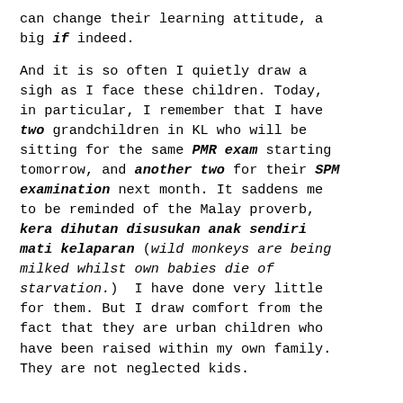can change their learning attitude, a big if indeed.
And it is so often I quietly draw a sigh as I face these children. Today, in particular, I remember that I have two grandchildren in KL who will be sitting for the same PMR exam starting tomorrow, and another two for their SPM examination next month. It saddens me to be reminded of the Malay proverb, kera dihutan disusukan anak sendiri mati kelaparan (wild monkeys are being milked whilst own babies die of starvation.)  I have done very little for them. But I draw comfort from the fact that they are urban children who have been raised within my own family. They are not neglected kids.